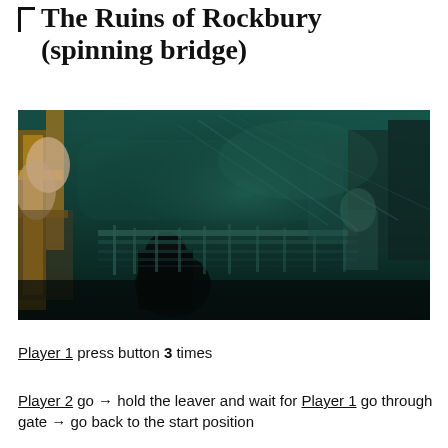The Ruins of Rockbury (spinning bridge)
[Figure (screenshot): Dark teal-tinted in-game screenshot of a ruined industrial or dungeon environment with a spinning bridge mechanism, showing a character in the foreground and elaborate metal structures in the background.]
Player 1 press button 3 times
Player 2 go → hold the leaver and wait for Player 1 go through gate → go back to the start position